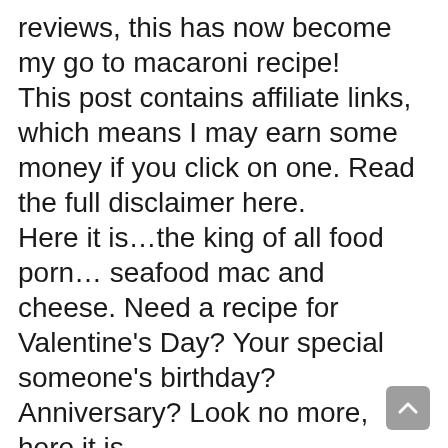reviews, this has now become my go to macaroni recipe! This post contains affiliate links, which means I may earn some money if you click on one. Read the full disclaimer here. Here it is…the king of all food porn… seafood mac and cheese. Need a recipe for Valentine's Day? Your special someone's birthday? Anniversary? Look no more, here it is. This recipe has several different cheeses combined to make a scrumptious and unforgettable mea